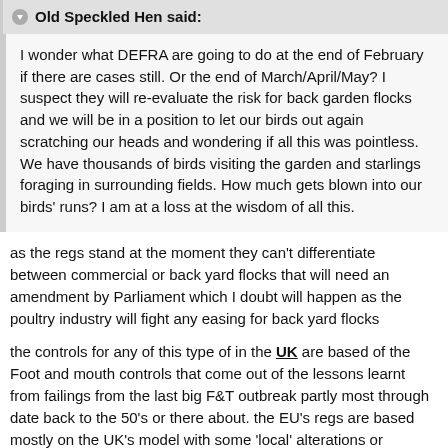Old Speckled Hen said: I wonder what DEFRA are going to do at the end of February if there are cases still. Or the end of March/April/May? I suspect they will re-evaluate the risk for back garden flocks and we will be in a position to let our birds out again scratching our heads and wondering if all this was pointless. We have thousands of birds visiting the garden and starlings foraging in surrounding fields. How much gets blown into our birds' runs? I am at a loss at the wisdom of all this.
as the regs stand at the moment they can't differentiate between commercial or back yard flocks that will need an amendment by Parliament which I doubt will happen as the poultry industry will fight any easing for back yard flocks
the controls for any of this type of in the UK are based of the Foot and mouth controls that come out of the lessons learnt from failings from the last big F&T outbreak partly most through date back to the 50's or there about. the EU's regs are based mostly on the UK's model with some 'local' alterations or interpretations